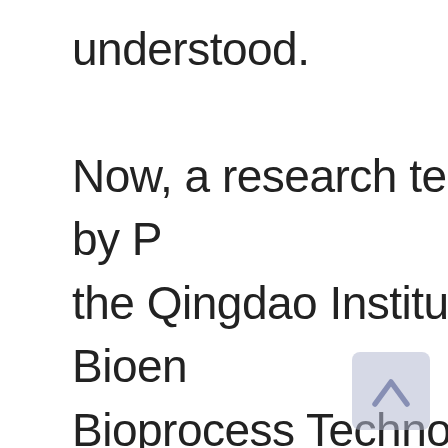understood. Now, a research team led by P the Qingdao Institute of Bioen Bioprocess Technology (QIBEB Academy of Sciences (CAS), ha genetic sensor of blue light tha synthesis in an industrial micr